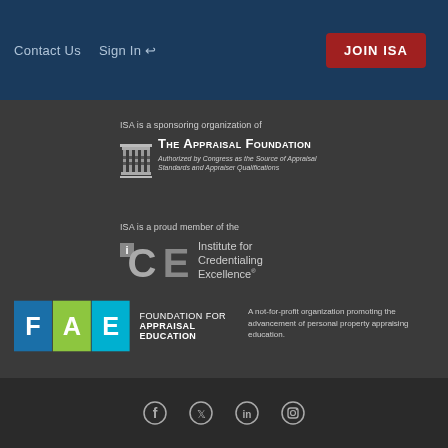Contact Us   Sign In →   JOIN ISA
ISA is a sponsoring organization of
[Figure (logo): The Appraisal Foundation logo with building icon and text: THE APPRAISAL FOUNDATION — Authorized by Congress as the Source of Appraisal Standards and Appraiser Qualifications]
ISA is a proud member of the
[Figure (logo): ICE — Institute for Credentialing Excellence logo]
[Figure (logo): FAE — Foundation for Appraisal Education logo with colored tiles F A E]
A not-for-profit organization promoting the advancement of personal property appraising education.
Social media icons: Facebook, Twitter, LinkedIn, Instagram